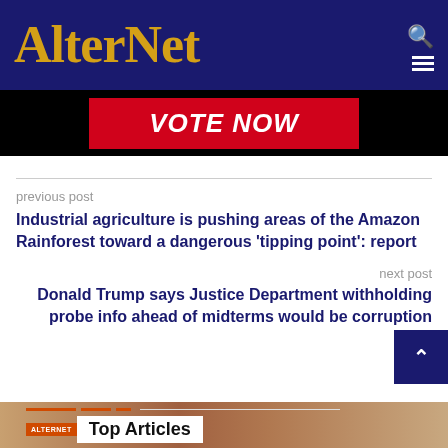AlterNet
[Figure (screenshot): VOTE NOW red banner advertisement]
previous post
Industrial agriculture is pushing areas of the Amazon Rainforest toward a dangerous 'tipping point': report
next post
Donald Trump says Justice Department withholding probe info ahead of midterms would be corruption
[Figure (photo): Top Articles section with AlterNet badge and food/person image in background]